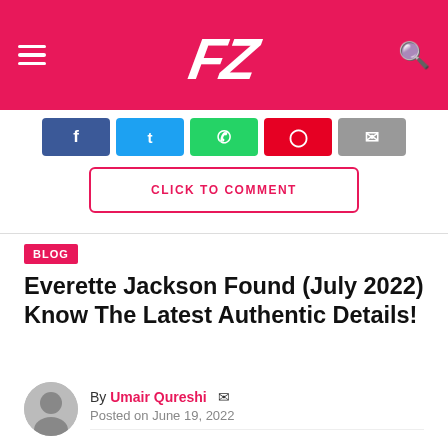FZ — website header with logo and navigation
[Figure (screenshot): Social share buttons: Facebook, Twitter, WhatsApp, Pinterest, Email (partial, top of page)]
CLICK TO COMMENT
BLOG
Everette Jackson Found (July 2022) Know The Latest Authentic Details!
By Umair Qureshi   Posted on June 19, 2022
[Figure (screenshot): Social share buttons: Facebook, Twitter, WhatsApp, Pinterest, Email]
Everette Jackson Found – In this article, we are covering